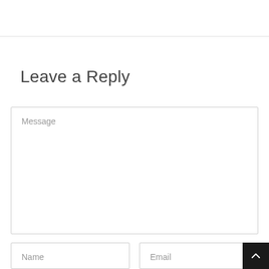Leave a Reply
Message
Name
Email